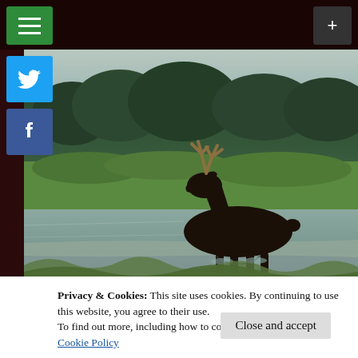[Figure (screenshot): Website screenshot showing a blog with dark maroon background, green hamburger menu button top-left, gray plus button top-right, Twitter and Facebook social share buttons on the left side, and a large photograph of a moose wading in a river with forested hills in the background.]
Privacy & Cookies: This site uses cookies. By continuing to use this website, you agree to their use.
To find out more, including how to control cookies, see here:
Cookie Policy
Close and accept
wildlife photos and my eclectic version of wit.